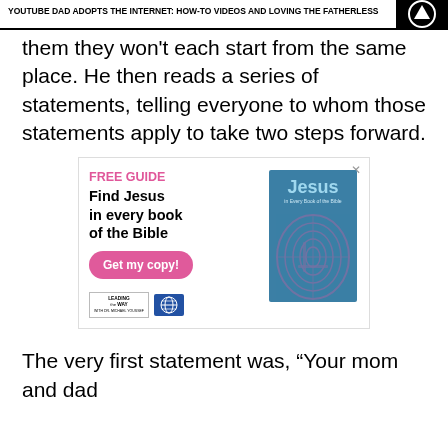YOUTUBE DAD ADOPTS THE INTERNET: HOW-TO VIDEOS AND LOVING THE FATHERLESS
them they won't each start from the same place. He then reads a series of statements, telling everyone to whom those statements apply to take two steps forward.
[Figure (illustration): Advertisement for a free guide titled 'Find Jesus in every book of the Bible' with a pink 'Get my copy!' button and a book cover showing 'Jesus in Every Book of the Bible' by Leading the Way with Michael Youssef]
The very first statement was, “Your mom and dad